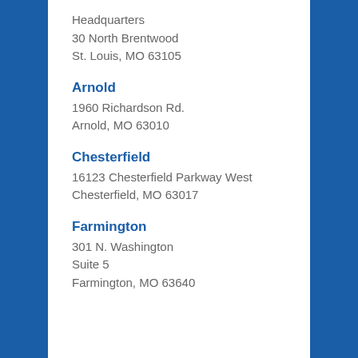Headquarters
30 North Brentwood
St. Louis, MO 63105
Arnold
1960 Richardson Rd.
Arnold, MO 63010
Chesterfield
16123 Chesterfield Parkway West
Chesterfield, MO 63017
Farmington
301 N. Washington
Suite 5
Farmington, MO 63640